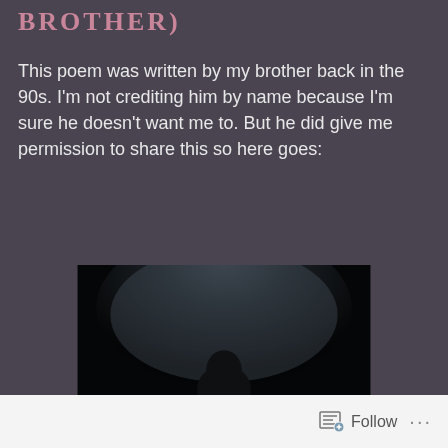BROTHER)
This poem was written by my brother back in the 90s. I'm not crediting him by name because I'm sure he doesn't want me to. But he did give me permission to share this so here goes:
[Figure (photo): Dark atmospheric photograph showing a silhouetted figure (head/shoulders) against a dark background with subtle blue-grey gradient lighting from above]
Follow ...